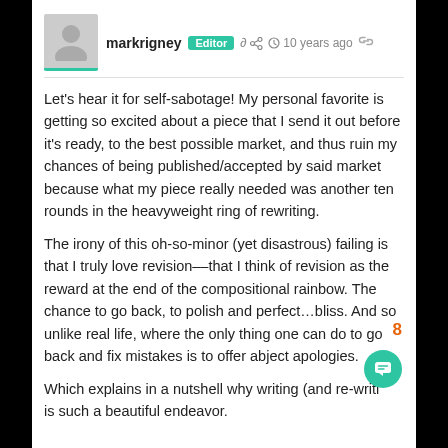markrigney Editor · 10 years ago
Let's hear it for self-sabotage! My personal favorite is getting so excited about a piece that I send it out before it's ready, to the best possible market, and thus ruin my chances of being published/accepted by said market because what my piece really needed was another ten rounds in the heavyweight ring of rewriting.
The irony of this oh-so-minor (yet disastrous) failing is that I truly love revision––that I think of revision as the reward at the end of the compositional rainbow. The chance to go back, to polish and perfect…bliss. And so unlike real life, where the only thing one can do to go back and fix mistakes is to offer abject apologies.
Which explains in a nutshell why writing (and re-writing) is such a beautiful endeavor.